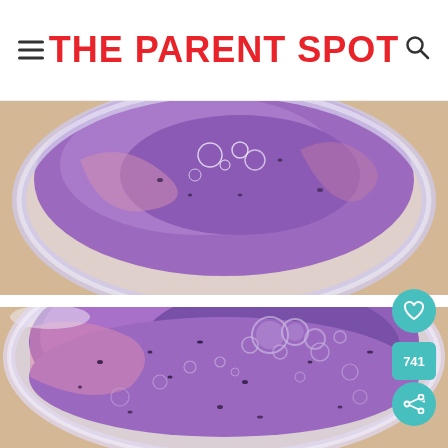THE PARENT SPOT
[Figure (photo): Top-down view of a purple blueberry smoothie in a glass jar, partially visible]
[Figure (photo): Close-up top-down view of a purple blueberry smoothie in a glass jar with bubbles on the surface, like/share buttons visible in bottom right corner showing 741 likes]